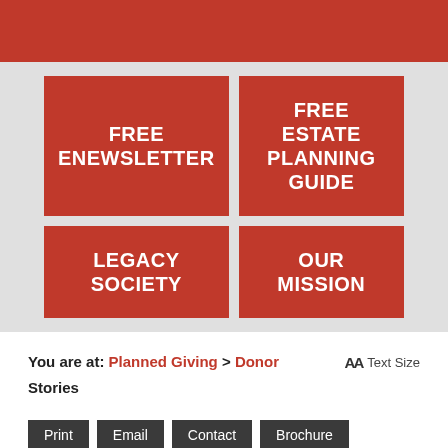[Figure (screenshot): Red header banner at top of page]
FREE ENEWSLETTER
FREE ESTATE PLANNING GUIDE
LEGACY SOCIETY
OUR MISSION
You are at: Planned Giving > Donor Stories
AA Text Size
Print
Email
Contact
Brochure